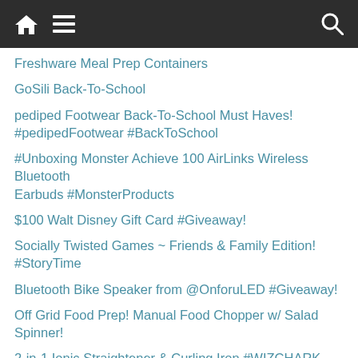Navigation bar with home, menu, and search icons
Freshware Meal Prep Containers
GoSili Back-To-School
pediped Footwear Back-To-School Must Haves! #pedipedFootwear #BackToSchool
#Unboxing Monster Achieve 100 AirLinks Wireless Bluetooth Earbuds #MonsterProducts
$100 Walt Disney Gift Card #Giveaway!
Socially Twisted Games ~ Friends & Family Edition! #StoryTime
Bluetooth Bike Speaker from @OnforuLED #Giveaway!
Off Grid Food Prep! Manual Food Chopper w/ Salad Spinner!
2-in-1 Ionic Straightener & Curling Iron #WIZCHARK #HairCurler #HairStraightener
HAOYISHU Solar Lights Bundle #Giveaway!
Gift Cards ~ Gifts for Anyone or Everyone! #GiftCards! (Up to